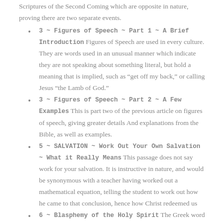Scriptures of the Second Coming which are opposite in nature, proving there are two separate events.
3 ~ Figures of Speech ~ Part 1 ~ A Brief Introduction Figures of Speech are used in every culture. They are words used in an unusual manner which indicate they are not speaking about something literal, but hold a meaning that is implied, such as “get off my back,” or calling Jesus “the Lamb of God.”
3 ~ Figures of Speech ~ Part 2 ~ A Few Examples This is part two of the previous article on figures of speech, giving greater details And explanations from the Bible, as well as examples.
5 ~ SALVATION ~ Work Out Your Own Salvation ~ What it Really Means This passage does not say work for your salvation. It is instructive in nature, and would be synonymous with a teacher having worked out a mathematical equation, telling the student to work out how he came to that conclusion, hence how Christ redeemed us
6 ~ Blasphemy of the Holy Spirit The Greek word from which we